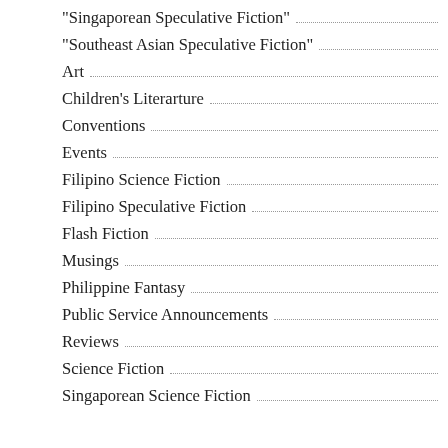"Singaporean Speculative Fiction"
"Southeast Asian Speculative Fiction"
Art
Children's Literarture
Conventions
Events
Filipino Science Fiction
Filipino Speculative Fiction
Flash Fiction
Musings
Philippine Fantasy
Public Service Announcements
Reviews
Science Fiction
Singaporean Science Fiction